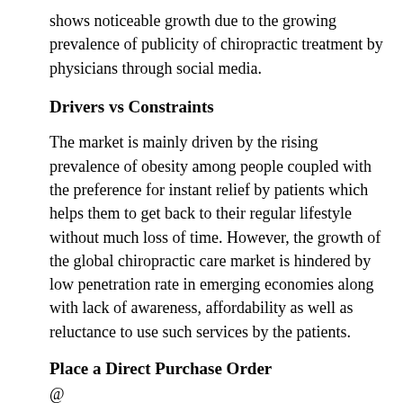shows noticeable growth due to the growing prevalence of publicity of chiropractic treatment by physicians through social media.
Drivers vs Constraints
The market is mainly driven by the rising prevalence of obesity among people coupled with the preference for instant relief by patients which helps them to get back to their regular lifestyle without much loss of time. However, the growth of the global chiropractic care market is hindered by low penetration rate in emerging economies along with lack of awareness, affordability as well as reluctance to use such services by the patients.
Place a Direct Purchase Order
@ https://www.trendsmarketresearch.com/checkout/39